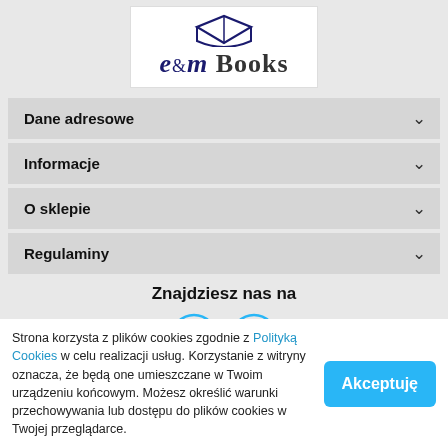[Figure (logo): e&m Books logo with open book icon above the text]
Dane adresowe
Informacje
O sklepie
Regulaminy
Znajdziesz nas na
[Figure (infographic): Facebook and Instagram social media icons in cyan circle outlines]
Strona korzysta z plików cookies zgodnie z Polityką Cookies w celu realizacji usług. Korzystanie z witryny oznacza, że będą one umieszczane w Twoim urządzeniu końcowym. Możesz określić warunki przechowywania lub dostępu do plików cookies w Twojej przeglądarce.